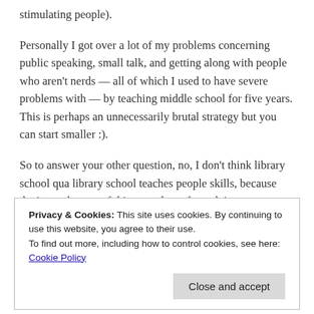stimulating people).
Personally I got over a lot of my problems concerning public speaking, small talk, and getting along with people who aren't nerds — all of which I used to have severe problems with — by teaching middle school for five years. This is perhaps an unnecessarily brutal strategy but you can start smaller :).
So to answer your other question, no, I don't think library school qua library school teaches people skills, because that's not the sort of thing you learn from doing your homework. But if you approach library school as a way to seek out crucibles for developing those skills, and you ask yourself thoughtful
Privacy & Cookies: This site uses cookies. By continuing to use this website, you agree to their use.
To find out more, including how to control cookies, see here:
Cookie Policy
how your actions impact the situation — making the group